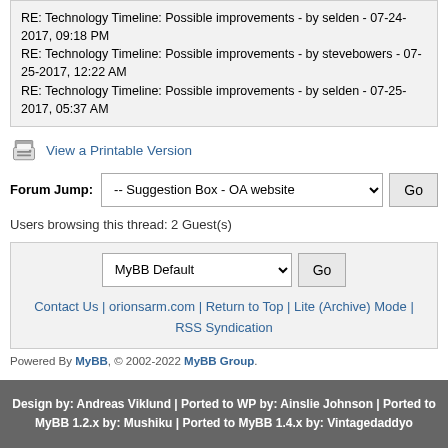RE: Technology Timeline: Possible improvements - by selden - 07-24-2017, 09:18 PM
RE: Technology Timeline: Possible improvements - by stevebowers - 07-25-2017, 12:22 AM
RE: Technology Timeline: Possible improvements - by selden - 07-25-2017, 05:37 AM
View a Printable Version
Forum Jump: -- Suggestion Box - OA website   Go
Users browsing this thread: 2 Guest(s)
MyBB Default   Go
Contact Us | orionsarm.com | Return to Top | Lite (Archive) Mode | RSS Syndication
Powered By MyBB, © 2002-2022 MyBB Group.
Design by: Andreas Viklund | Ported to WP by: Ainslie Johnson | Ported to MyBB 1.2.x by: Mushiku | Ported to MyBB 1.4.x by: Vintagedaddyo